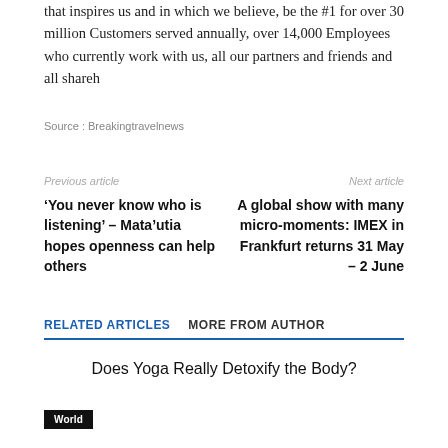that inspires us and in which we believe, be the #1 for over 30 million Customers served annually, over 14,000 Employees who currently work with us, all our partners and friends and all shareh
Source : Breakingtravelnews
Previous article
Next article
‘You never know who is listening’ – Mata’utia hopes openness can help others
A global show with many micro-moments: IMEX in Frankfurt returns 31 May – 2 June
RELATED ARTICLES    MORE FROM AUTHOR
Does Yoga Really Detoxify the Body?
World